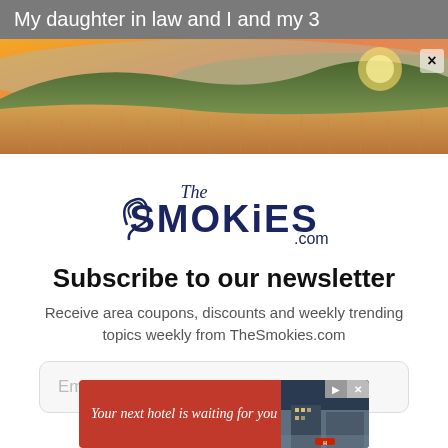My daughter in law and I and my 3
[Figure (photo): Scenic landscape photo of golden meadow grasses with rolling hills and a warm sunset sky in the background. A close button (×) is visible in the top right.]
[Figure (logo): The Smokies.com logo in dark navy blue decorative font]
Subscribe to our newsletter
Receive area coupons, discounts and weekly trending topics weekly from TheSmokies.com
Email
[Figure (screenshot): Advertisement banner reading 'Your next hotel is waiting for you' with a dark hotel image on the right side and play/close controls in top right corner]